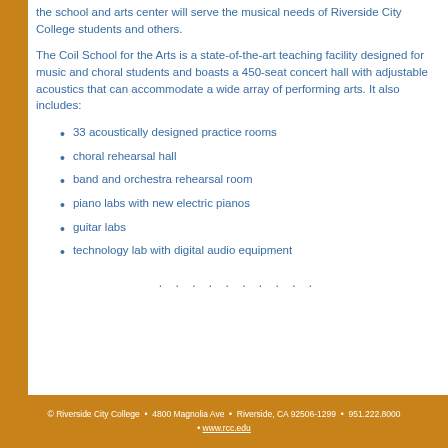the school and arts center will serve the musical needs of Riverside City College students and others.
The Coil School for the Arts is a state-of-the-art teaching facility designed for music and choral students and boasts a 450-seat concert hall with adjustable acoustics that can accommodate a wide array of performing arts. It also includes:
33 acoustically designed practice rooms
choral rehearsal hall
band and orchestra rehearsal room
piano labs with new electric pianos
guitar labs
technology lab with digital audio equipment
© Riverside City College • 4800 Magnolia Ave • Riverside, CA 92506-1299 • 951.222.8000 • www.rcc.edu